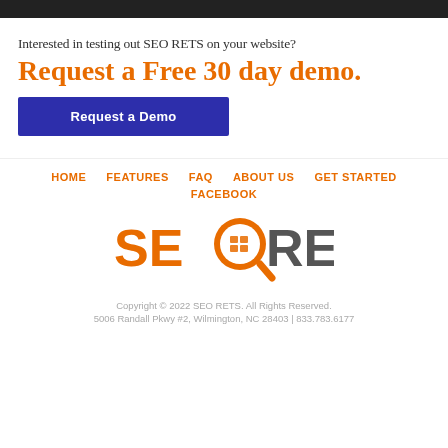Interested in testing out SEO RETS on your website?
Request a Free 30 day demo.
Request a Demo
HOME   FEATURES   FAQ   ABOUT US   GET STARTED   FACEBOOK
[Figure (logo): SEO RETS logo with orange magnifying glass icon containing a house grid symbol]
Copyright © 2022 SEO RETS. All Rights Reserved. 5006 Randall Pkwy #2, Wilmington, NC 28403 | 833.783.6177